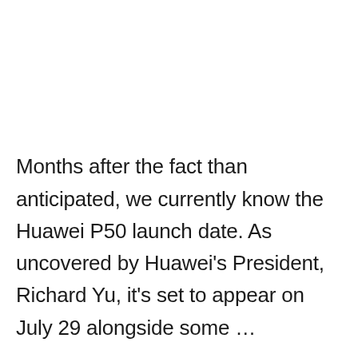Months after the fact than anticipated, we currently know the Huawei P50 launch date. As uncovered by Huawei's President, Richard Yu, it's set to appear on July 29 alongside some …